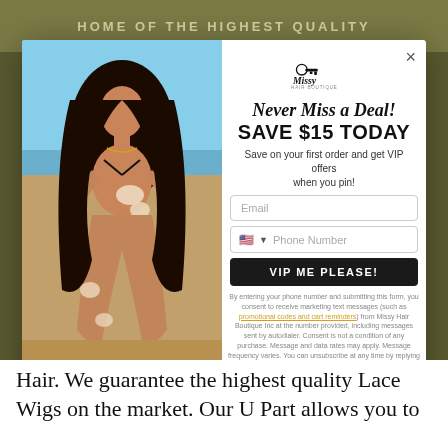HOME OF THE HIGHEST QUALITY
[Figure (photo): Modal popup overlay on a website showing a woman in a bikini on a beach on the left, and a promotional signup form on the right with logo, headline 'Never Miss a Deal! SAVE $15 TODAY', email and phone input fields, VIP ME PLEASE! button, and disclaimer text.]
Hair. We guarantee the highest quality Lace Wigs on the market. Our U Part allows you to